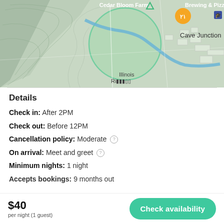[Figure (map): A map showing the area near Cave Junction, Oregon, with Cedar Bloom Farm label, Brewing & Pizza restaurant marker (orange), a green circle highlight around a river/park area, topographic terrain shading, and Illinois River text.]
Details
Check in: After 2PM
Check out: Before 12PM
Cancellation policy: Moderate
On arrival: Meet and greet
Minimum nights: 1 night
Accepts bookings: 9 months out
$40 per night (1 guest)
Check availability